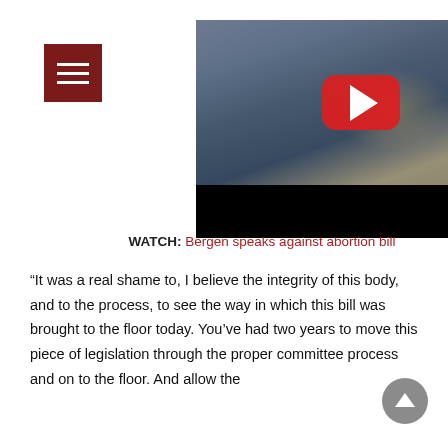[Figure (screenshot): Menu button: dark red square with three white horizontal lines (hamburger icon), positioned top-left]
[Figure (screenshot): YouTube video thumbnail showing a man in a suit speaking at a legislative podium in a chamber with blue carpet, with a red YouTube play button overlay in the center]
WATCH: Bergen speaks against abortion bill
“It was a real shame to, I believe the integrity of this body, and to the process, to see the way in which this bill was brought to the floor today. You’ve had two years to move this piece of legislation through the proper committee process and on to the floor. And allow the